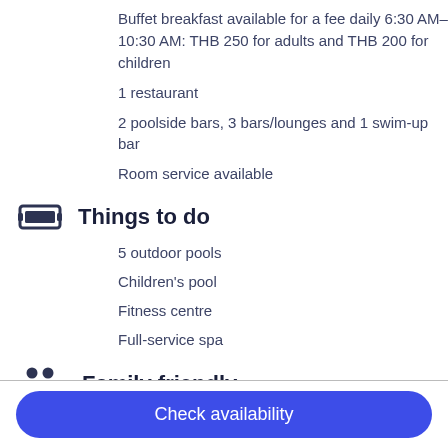Buffet breakfast available for a fee daily 6:30 AM–10:30 AM: THB 250 for adults and THB 200 for children
1 restaurant
2 poolside bars, 3 bars/lounges and 1 swim-up bar
Room service available
Things to do
5 outdoor pools
Children's pool
Fitness centre
Full-service spa
Family friendly
5 outdoor pools
Babysitting (surcharge)
Children's pool
Check availability